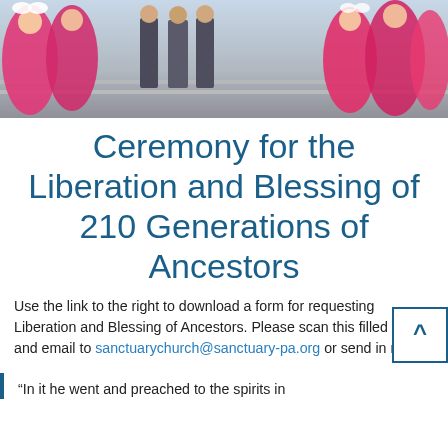[Figure (photo): Photo of people in traditional Korean/ceremonial attire (pink and white hanbok) gathered on steps, with men in suits visible in the background.]
Ceremony for the Liberation and Blessing of 210 Generations of Ancestors
Use the link to the right to download a form for requesting Liberation and Blessing of Ancestors. Please scan this filled form and email to sanctuarychurch@sanctuary-pa.org or send in mail.
"In it he went and preached to the spirits in